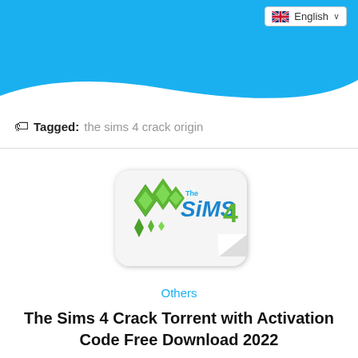Activators 4 Windows
Tagged: the sims 4 crack origin
[Figure (logo): The Sims 4 logo with green diamond shapes and blue text on a white rounded rectangle sticker]
Others
The Sims 4 Crack Torrent with Activation Code Free Download 2022